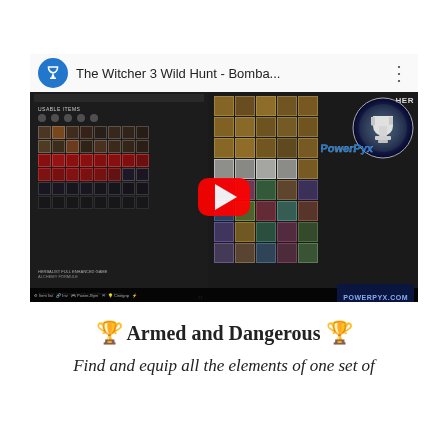[Figure (screenshot): YouTube video thumbnail for 'The Witcher 3 Wild Hunt - Bomba...' showing game inventory screenshots with PowerPyx logo, red play button overlay, and POWERPYX.COM watermark at bottom right]
🏆 Armed and Dangerous 🏆
Find and equip all the elements of one set of